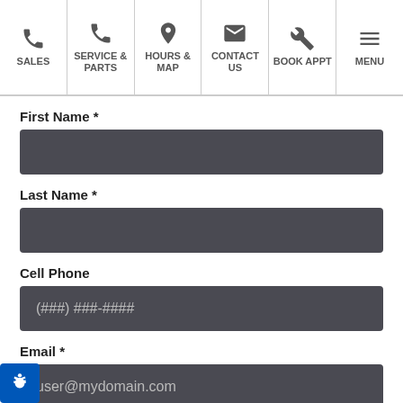SALES | SERVICE & PARTS | HOURS & MAP | CONTACT US | BOOK APPT | MENU
First Name *
Last Name *
Cell Phone
(###) ###-####
Email *
user@mydomain.com
Vehicle Status *
Select One